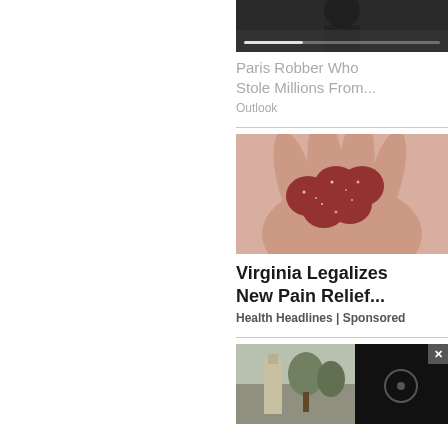[Figure (photo): Dark background image with video player progress bar at bottom, partially cropped]
Paris Robber Who Stole Millions From...
Outlook
[Figure (photo): Hand holding several red sugary gummy candies]
Virginia Legalizes New Pain Relief...
Health Headlines | Sponsored
[Figure (screenshot): Bottom article with outdoor scene image on left and dark video overlay with X close button on right]